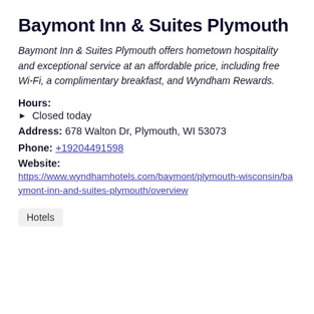Baymont Inn & Suites Plymouth
Baymont Inn & Suites Plymouth offers hometown hospitality and exceptional service at an affordable price, including free Wi-Fi, a complimentary breakfast, and Wyndham Rewards.
Hours:
Closed today
Address: 678 Walton Dr, Plymouth, WI 53073
Phone: +19204491598
Website: https://www.wyndhamhotels.com/baymont/plymouth-wisconsin/baymont-inn-and-suites-plymouth/overview
Hotels